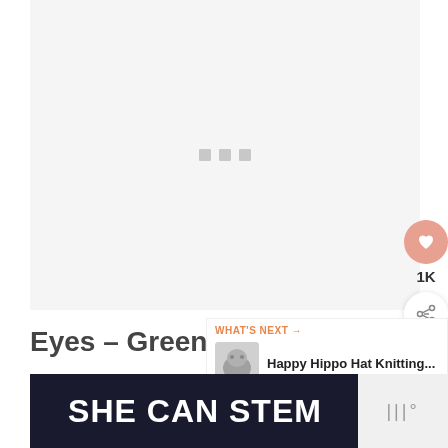[Figure (other): Loading placeholder image area with three small gray squares (loading dots) centered on a light gray background]
[Figure (other): Heart/like button (salmon/peach circle with heart icon) showing 1K likes, and a share button below]
Eyes – Green (make 2):
[Figure (other): WHAT'S NEXT card with thumbnail of Happy Hippo Hat Knitting... article]
[Figure (other): SHE CAN STEM advertisement banner on dark background, with logo to the right]